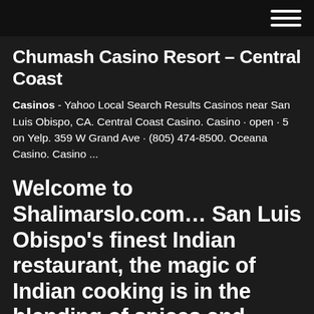☰
Chumash Casino Resort – Central Coast
Casinos - Yahoo Local Search Results Casinos near San Luis Obispo, CA. Central Coast Casino. Casino · open · 5 on Yelp. 359 W Grand Ave · (805) 474-8500. Oceana Casino. Casino ...
Welcome to Shalimarslo.com… San Luis Obispo's finest Indian restaurant, the magic of Indian cooking is in the blending of spices and other fresh ingredients. At Shalimar we make each entree to satisfy YOU